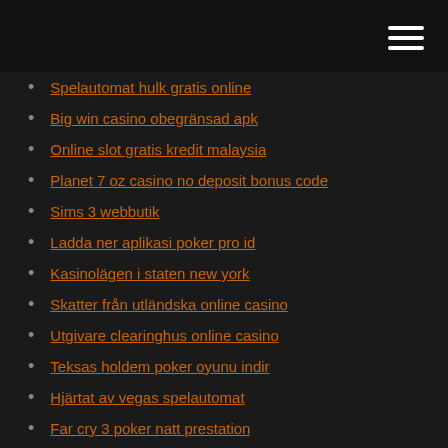Spelautomat hulk gratis online
Big win casino obegränsad apk
Online slot gratis kredit malaysia
Planet 7 oz casino no deposit bonus code
Sims 3 webbutik
Ladda ner aplikasi poker pro id
Kasinolägen i staten new york
Skatter från utländska online casino
Utgivare clearinghus online casino
Teksas holdem poker oyunu indir
Hjärtat av vegas spelautomat
Far cry 3 poker natt prestation
Hur får man gratis mynt på zynga slots
Royal vegas casino kommentarer